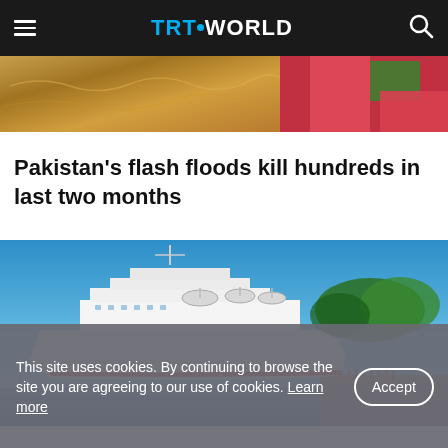TRT WORLD
[Figure (photo): Partial photo of Pakistan flash flood showing muddy brown water and colorful fabric/clothing]
Pakistan's flash floods kill hundreds in last two months
[Figure (photo): A large white Chinese research/spy ship docked at a port with blue sky, green trees, and people on the dock]
This site uses cookies. By continuing to browse the site you are agreeing to our use of cookies. Learn more